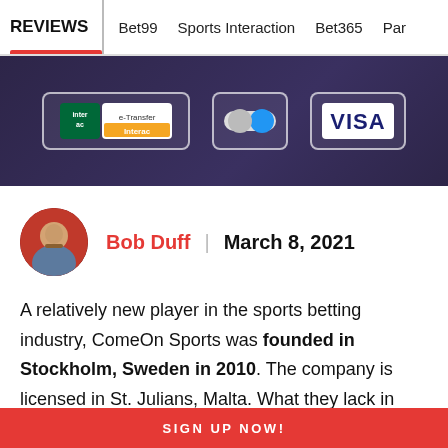REVIEWS | Bet99 | Sports Interaction | Bet365 | Par
[Figure (screenshot): Dark banner showing payment method logos: Interac e-Transfer, Mastercard (toggle style), and VISA]
Bob Duff  March 8, 2021
A relatively new player in the sports betting industry, ComeOn Sports was founded in Stockholm, Sweden in 2010. The company is licensed in St. Julians, Malta. What they lack in experience, ComeOn Sports makes up for in
SIGN UP NOW!